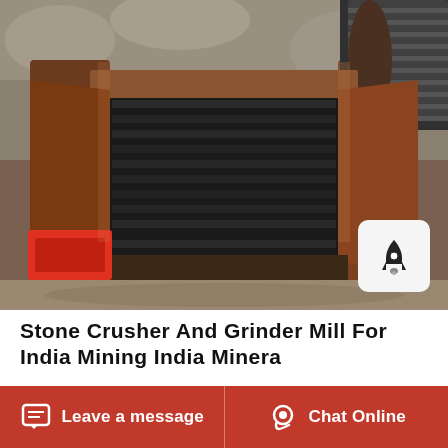[Figure (photo): Close-up photograph of a stone crusher / jaw crusher machine viewed from above, showing the metal crushing chamber, heavy steel frame, and pulley wheel at the top. Industrial mining equipment.]
Stone Crusher And Grinder Mill For India Mining India Minera
Stone Crusher And Grinder Mill For India Mining India Minera. Mozambique Culture History People
Leave a message   Chat Online